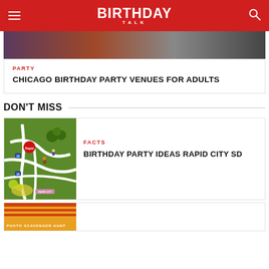BIRTHDAY TALK
[Figure (photo): Party scene photo at top of page]
PARTY
CHICAGO BIRTHDAY PARTY VENUES FOR ADULTS
DON'T MISS
[Figure (map): Illustrated map of Rapid City SD area]
FACTS
BIRTHDAY PARTY IDEAS RAPID CITY SD
[Figure (photo): Bottom card image partially visible]